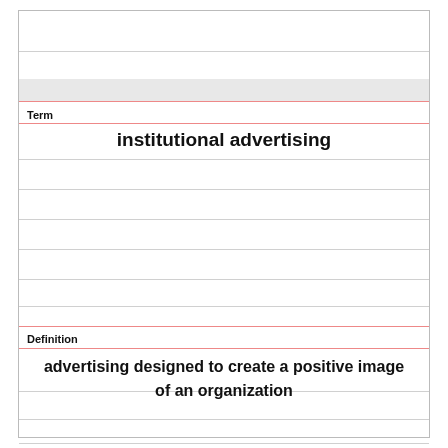Term
institutional advertising
Definition
advertising designed to create a positive image of an organization